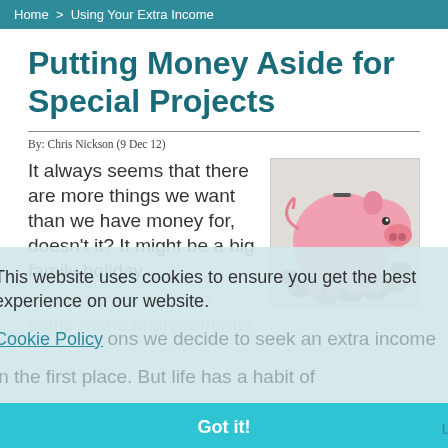Home > Using Your Extra Income
Putting Money Aside for Special Projects
By: Chris Nickson (9 Dec 12)
[Figure (photo): A pink piggy bank surrounded by coins on a white background]
It always seems that there are more things we want than we have money for, doesn't it? It might be a big family holiday, a new car, or perhaps some home improvements. Those are the reasons we decide to seek an extra income in the first place. But life has a habit of intruding on the best-laid plans. Bills come up, there are more bills to be paid, and slowly all that extra income is swallowed up. Yet those projects are still there, waiting, and more might
This website uses cookies to ensure you get the best experience on our website.
Cookie Policy
Got it!